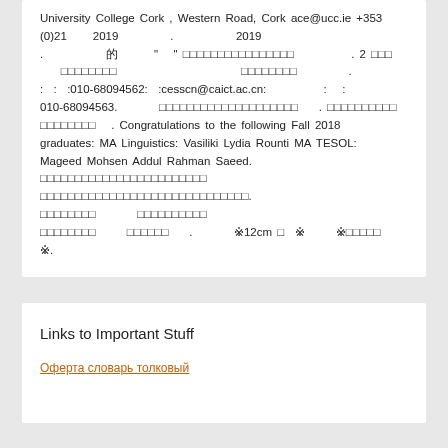University College Cork, Western Road, Cork ace@ucc.ie +353 (0)21  2019  .  2019 .  的  " " □□□□□□□□□□□□□□□□  . 2 □□□  □□□□□□□  □□□□□□□□  □□□□□□  .  : : :010-68094562: :cesscn@caict.ac.cn: : : 010-68094563.  □□□□□□□□□□□□□□□□□□□□  . □□□□□□□□□□ □□□□□□□□  . Congratulations to the following Fall 2018 graduates: MA Linguistics: Vasiliki Lydia Rounti MA TESOL: Mageed Mohsen Addul Rahman Saeed. □□□□□□□□□□□□□□□□□□□□□□□□□□ □□□□□□□□□□□□□□□□□□□□□□□□□□ . □□□□□□□□  □□□□□□□□□□ □□□□□□□□  □□□□□□  .  ※12cm □  ※  ※□□□□□ ※.
Links to Important Stuff
Оферта словарь толковый